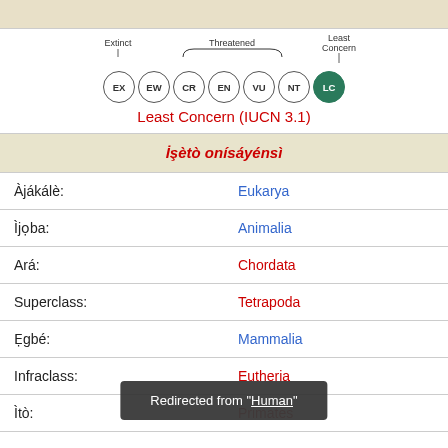[Figure (infographic): IUCN conservation status diagram showing circles: EX, EW (Extinct), CR, EN, VU (Threatened), NT, LC (Least Concern highlighted in green). LC is currently selected.]
Least Concern (IUCN 3.1)
İşètò onísáyénsì
| Àjákálè: | Eukarya |
| Ìjọba: | Animalia |
| Ará: | Chordata |
| Superclass: | Tetrapoda |
| Ẹgbé: | Mammalia |
| Infraclass: | Eutheria |
| Ìtò: | Primates |
Redirected from "Human"